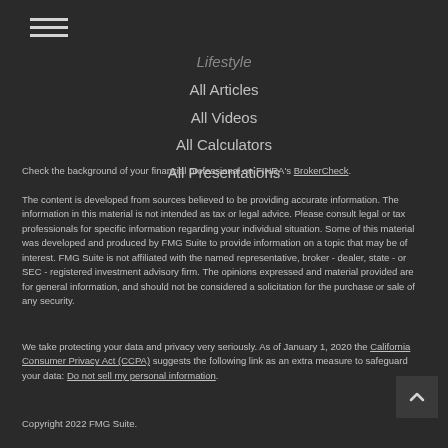Lifestyle
All Articles
All Videos
All Calculators
All Presentations
Check the background of your financial professional on FINRA's BrokerCheck.
The content is developed from sources believed to be providing accurate information. The information in this material is not intended as tax or legal advice. Please consult legal or tax professionals for specific information regarding your individual situation. Some of this material was developed and produced by FMG Suite to provide information on a topic that may be of interest. FMG Suite is not affiliated with the named representative, broker - dealer, state - or SEC - registered investment advisory firm. The opinions expressed and material provided are for general information, and should not be considered a solicitation for the purchase or sale of any security.
We take protecting your data and privacy very seriously. As of January 1, 2020 the California Consumer Privacy Act (CCPA) suggests the following link as an extra measure to safeguard your data: Do not sell my personal information.
Copyright 2022 FMG Suite.